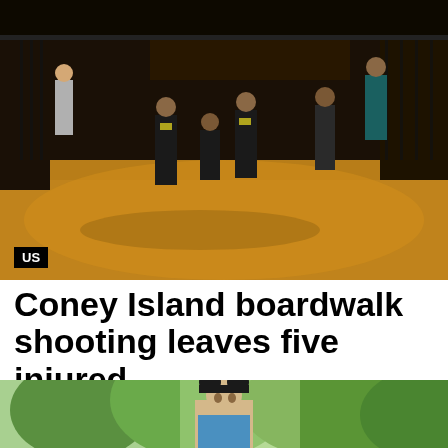[Figure (photo): Night scene showing police officers and investigators at a crime scene on a street with yellow-lit road surface and metal fencing in the background.]
US
Coney Island boardwalk shooting leaves five injured
Five people were shot on the iconic Coney Island boardwalk just before...
Internewscast · May 25, 2022
[Figure (photo): Outdoor daytime scene showing a person wearing a Mickey Mouse ears hat, with green foliage in the background.]